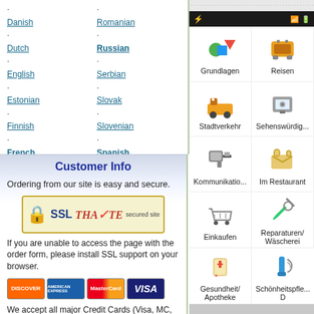Danish, Dutch, English, Estonian, Finnish, French (bold), German, Greek, Hebrew, Hindi, Hungarian, Indonesian, Italian
Romanian, Russian (bold), Serbian, Slovak, Slovenian, Spanish (bold), Swedish, Tagalog (Filipino), Tatar, Thai, Turkish (bold), Ukrainian, Vietnamese, Yiddish
Customer Info
Ordering from our site is easy and secure.
[Figure (logo): SSL Thawte secured site badge]
If you are unable to access the page with the order form, please install SSL support on your browser.
[Figure (other): Credit card logos: Discover, American Express, MasterCard, Visa]
We accept all major Credit Cards (Visa, MC, AmEx, Discover).
[Figure (screenshot): Mobile app screenshot showing German language learning app categories: Grundlagen, Reisen, Stadtverkehr, Sehenswürdig..., Kommunikatio..., Im Restaurant, Einkaufen, Reparaturen/Wäscherei, Gesundheit/Apotheke, Schönheitspfle... D]